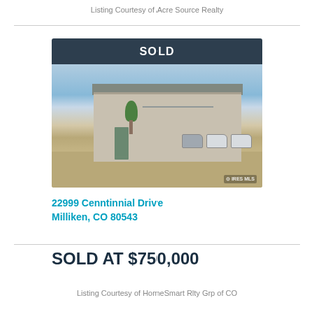Listing Courtesy of Acre Source Realty
[Figure (photo): Commercial warehouse building with SOLD banner overlay. Large metal building with green awning, tree in front, vehicles parked in lot. IRES watermark visible.]
22999 Cenntinnial Drive
Milliken, CO 80543
SOLD AT $750,000
Listing Courtesy of HomeSmart Rlty Grp of CO